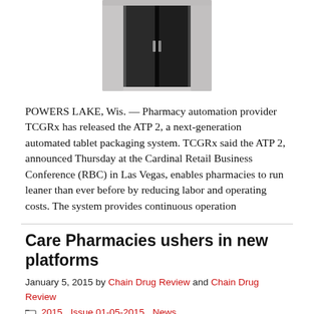[Figure (photo): Photo of a cabinet or automated dispensing unit with dark interior, light gray exterior]
POWERS LAKE, Wis. — Pharmacy automation provider TCGRx has released the ATP 2, a next-generation automated tablet packaging system. TCGRx said the ATP 2, announced Thursday at the Cardinal Retail Business Conference (RBC) in Las Vegas, enables pharmacies to run leaner than ever before by reducing labor and operating costs. The system provides continuous operation
Care Pharmacies ushers in new platforms
January 5, 2015 by Chain Drug Review and Chain Drug Review
2015, Issue 01-05-2015, News
LINTHICUM, Md. — Care Pharmacies